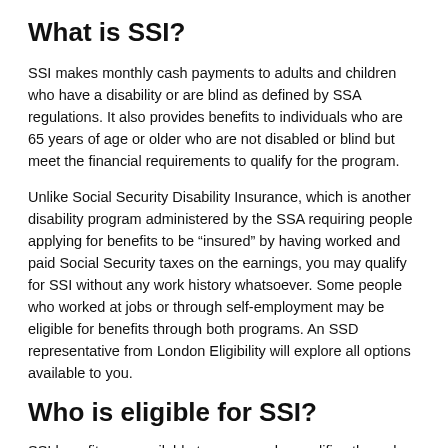What is SSI?
SSI makes monthly cash payments to adults and children who have a disability or are blind as defined by SSA regulations. It also provides benefits to individuals who are 65 years of age or older who are not disabled or blind but meet the financial requirements to qualify for the program.
Unlike Social Security Disability Insurance, which is another disability program administered by the SSA requiring people applying for benefits to be “insured” by having worked and paid Social Security taxes on the earnings, you may qualify for SSI without any work history whatsoever. Some people who worked at jobs or through self-employment may be eligible for benefits through both programs. An SSD representative from London Eligibility will explore all options available to you.
Who is eligible for SSI?
SSI benefits are available to anyone who qualifies through being 65 years of age or older, or by being blind or disabled. Applicants must have limited income and resources and